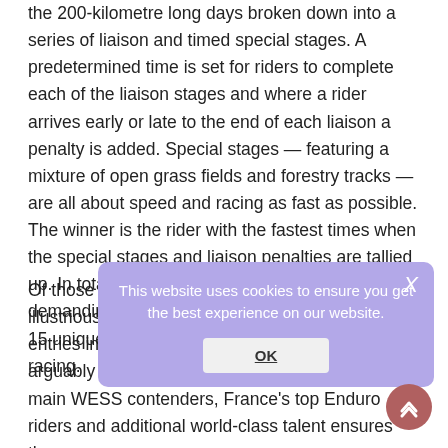the 200-kilometre long days broken down into a series of liaison and timed special stages. A predetermined time is set for riders to complete each of the liaison stages and where a rider arrives early or late to the end of each liaison a penalty is added. Special stages — featuring a mixture of open grass fields and forestry tracks — are all about speed and racing as fast as possible. The winner is the rider with the fastest times when the special stages and liaison penalties are tallied up. In total, competitors will complete a demanding 600 kilometres of Enduro riding and 15 unique special tests during the three-days of racing.
[Figure (screenshot): Cookie consent overlay with text 'This website uses cookies to ensure you get the best experience on our website.' and an OK button, with a close X button.]
Of those looking to add their name to the illustrious Winner's List, the quality and depth of entries in this year's 32nd edition of the race is arguably as strong as it's been. Factoring in the main WESS contenders, France's top Enduro riders and additional world-class talent ensures the